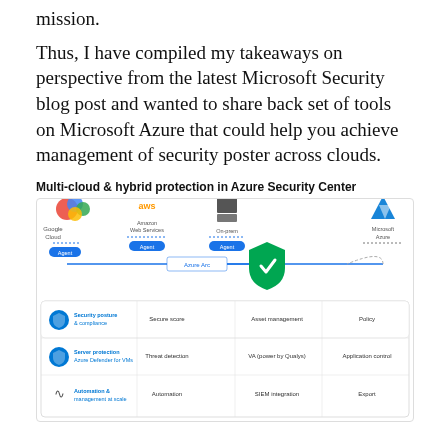mission.
Thus, I have compiled my takeaways on perspective from the latest Microsoft Security blog post and wanted to share back set of tools on Microsoft Azure that could help you achieve management of security poster across clouds.
Multi-cloud & hybrid protection in Azure Security Center
[Figure (infographic): Diagram showing multi-cloud and hybrid protection in Azure Security Center. Icons for Google Cloud, Amazon Web Services, On-prem, and Microsoft Azure are shown connected via Azure Arc to a central Azure Security Center green shield icon. Below is a table showing three rows: Security posture & compliance (Secure score, Asset management, Policy), Server protection - Azure Defender for VMs (Threat detection, VA powered by Qualys, Application control), Automation & management at scale (Automation, SIEM integration, Export).]